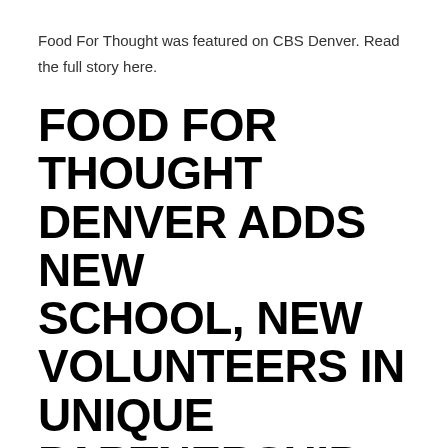Food For Thought was featured on CBS Denver. Read the full story here.
FOOD FOR THOUGHT DENVER ADDS NEW SCHOOL, NEW VOLUNTEERS IN UNIQUE PARTNERSHIP
Feb 26, 2016 | Media | 0 comments
DENVER, Feb. 25, 2016 /PRNewswire/ — Food for Thought Denver, a local non-profit organization